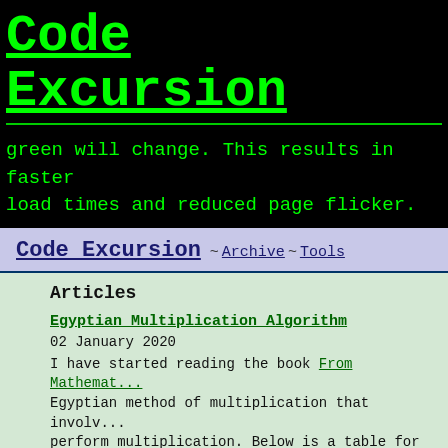Code Excursion
green will change. This results in faster load times and reduced page flicker.
Code Excursion ~ Archive ~ Tools
Articles
Egyptian Multiplication Algorithm
02 January 2020
I have started reading the book From Mathemat... Egyptian method of multiplication that involv... perform multiplication. Below is a table for following row. 1 + 1 is 2 and 23 + 23 is 46.
Liferay, From 6.2 to 7.1: The Model is the ke...
02 August 2019
I have been struggling with bringing legacy...